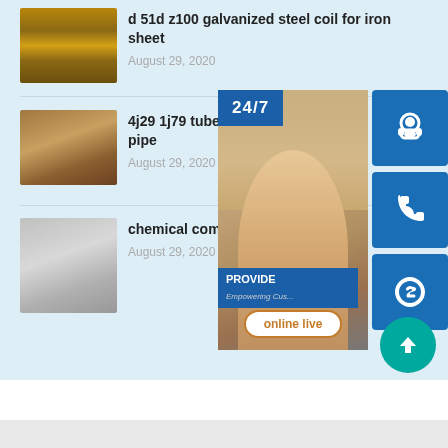[Figure (photo): Steel plate/coil product thumbnail - first item]
d 51d z100 galvanized steel coil for iron sheet
August 29, 2020
[Figure (photo): Steel plate product thumbnail - second item]
4j29 1j79 tube 17 7p stainless steel pipe
August 29, 2020
[Figure (photo): Steel sheet product thumbnail - third item]
chemical composition steel
August 29, 2020
[Figure (infographic): Customer service overlay with 24/7 badge, headset agent photo, phone icon button, Skype icon button, PROVIDE Empowering Customers text, and online live button]
[Figure (other): Scroll to top circular button (teal/cyan)]